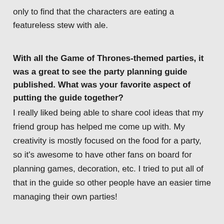only to find that the characters are eating a featureless stew with ale.
With all the Game of Thrones-themed parties, it was a great to see the party planning guide published. What was your favorite aspect of putting the guide together?
I really liked being able to share cool ideas that my friend group has helped me come up with. My creativity is mostly focused on the food for a party, so it's awesome to have other fans on board for planning games, decoration, etc. I tried to put all of that in the guide so other people have an easier time managing their own parties!
What's next for you in terms of writing projects, wherever they may bring us?
Well, I'm mostly delving into the realm of ebooks; I'm working on